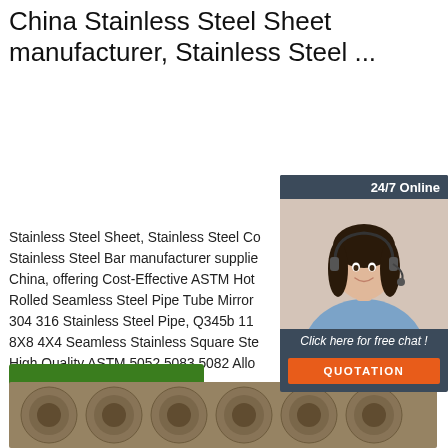China Stainless Steel Sheet manufacturer, Stainless Steel ...
[Figure (photo): Customer service representative / chat widget with 24/7 Online label, photo of woman with headset, Click here for free chat!, and QUOTATION button]
Stainless Steel Sheet, Stainless Steel Coil, Stainless Steel Bar manufacturer supplier in China, offering Cost-Effective ASTM Hot Rolled Seamless Steel Pipe Tube Mirror 304 316 Stainless Steel Pipe, Q345b 11 8X8 4X4 Seamless Stainless Square Steel, High Quality ASTM 5052 5083 5082 Alloy Aluminum Coils and so on.
[Figure (other): Green Get Price button]
[Figure (logo): TOP logo with orange dots above the text]
[Figure (photo): Bottom strip photo showing stainless steel pipes/tubes]